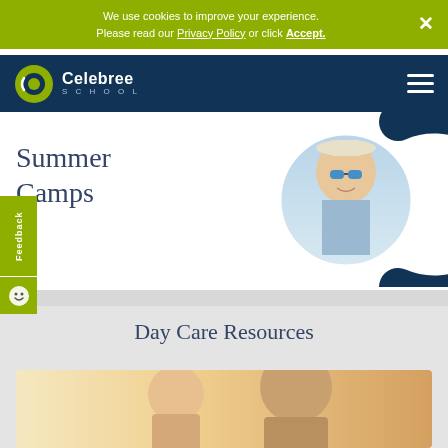We use cookies to improve your experience. Please read our Privacy Policy or click Accept.
Celebree School
Summer Camps
[Figure (photo): Boy in sunglasses and hat lying down smiling, in circular crop with teal arc decoration]
Feedback
Day Care Resources
[Figure (photo): Two children with warm backlit lighting, daycare resources section]